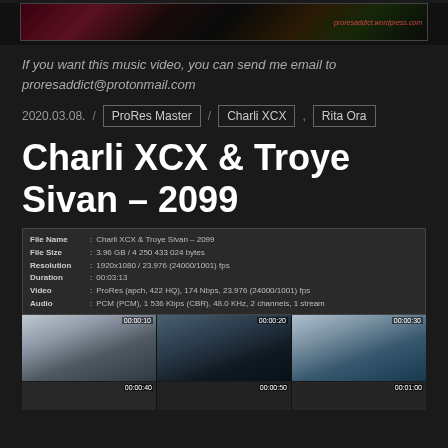[Figure (screenshot): Top thumbnail strip showing video frames from a music video with watermark proresaddict.wordpress.com]
If you want this music video, you can send me email to proresaddict@protonmail.com
2020.03.08.  /   ProRes Master  /   Charli XCX ,  Rita Ora
Charli XCX & Troye Sivan – 2099
[Figure (screenshot): File info box showing: File Name: Charli XCX & Troye Sivan - 2099, File Size: 3.96 GB / 4 250 433 024 bytes, Resolution: 1920x1080 / 23.976 (24000/1001) fps, Duration: 00:03:13, Video: ProRes (apch, 422 HQ), 174 Mbps, 23.976 (24000/1001) fps, Audio: PCM (PCM), 1 536 Kbps (CBR), 48.0 KHz, 2 channels, 1 stream. Below: thumbnail grid of video frames at timestamps 00:00:10, 00:00:20, 00:00:30, 00:00:40, 00:00:50, 00:01:00]